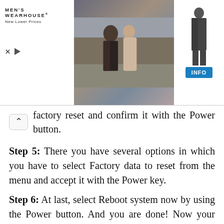[Figure (other): Men's Wearhouse advertisement banner showing a couple in formalwear and a man in a suit, with an INFO button]
factory reset and confirm it with the Power button.
Step 5: There you have several options in which you have to select Factory data to reset from the menu and accept it with the Power key.
Step 6: At last, select Reboot system now by using the Power button. And you are done! Now your device is reset and password-free.
Other Methods to Hard Reset Your Android Mobile: